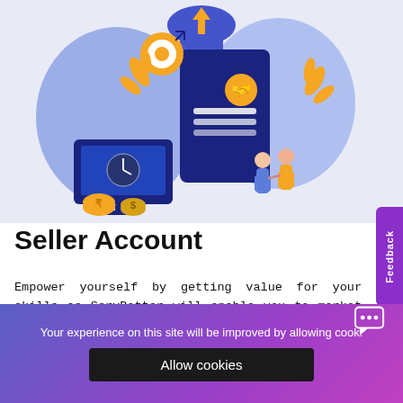[Figure (illustration): Decorative illustration of a seller account concept with blue and gold icons: documents, handshake, coins, monitor, cloud upload arrow, target, and two people exchanging/greeting, on a light lavender background.]
Seller Account
Empower yourself by getting value for your skills as ServBetter will enable you to market your talent to thousands of buyers across the world. Highlight your skills and make your portfolio to increase the chances of getting hired. Now you can cash your free time and get yourself hired by reliable buyers at ServBetter.
Your experience on this site will be improved by allowing cook.
Allow cookies